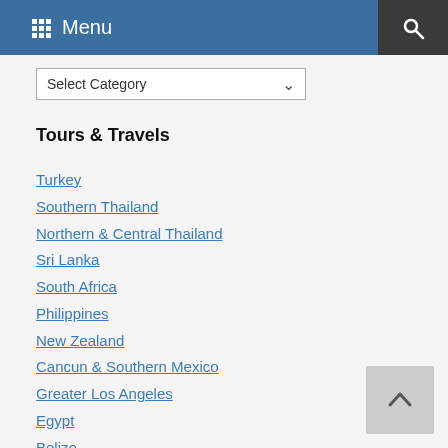Menu
Select Category
Tours & Travels
Turkey
Southern Thailand
Northern & Central Thailand
Sri Lanka
South Africa
Philippines
New Zealand
Cancun & Southern Mexico
Greater Los Angeles
Egypt
Belize
Bali Island